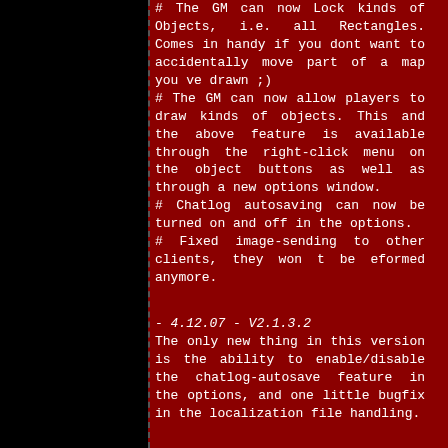# The GM can now Lock kinds of Objects, i.e. all Rectangles. Comes in handy if you dont want to accidentally move part of a map you ve drawn ;)
# The GM can now allow players to draw kinds of objects. This and the above feature is available through the right-click menu on the object buttons as well as through a new options window.
# Chatlog autosaving can now be turned on and off in the options.
# Fixed image-sending to other clients, they won t be eformed anymore.
- 4.12.07 - V2.1.3.2
The only new thing in this version is the ability to enable/disable the chatlog-autosave feature in the options, and one little bugfix in the localization file handling.
- 30.11.07 - V2.1.3.1
This is mostly a "bugfix" release, but one new feature also found its way into the new version =)
# Specific Objects can now be